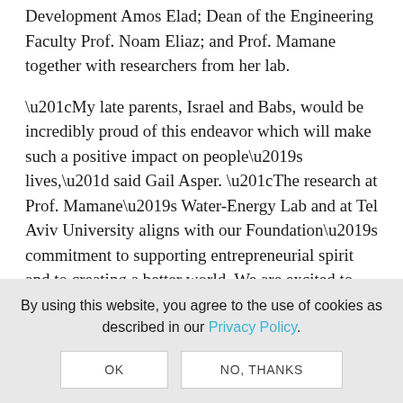Asper Foundation, TAU Vice President for Resource Development Amos Elad; Dean of the Engineering Faculty Prof. Noam Eliaz; and Prof. Mamane together with researchers from her lab.
“My late parents, Israel and Babs, would be incredibly proud of this endeavor which will make such a positive impact on people’s lives,” said Gail Asper. “The research at Prof. Mamane’s Water-Energy Lab and at Tel Aviv University aligns with our Foundation’s commitment to supporting entrepreneurial spirit and to creating a better world. We are excited to embark on
By using this website, you agree to the use of cookies as described in our Privacy Policy.
OK | NO, THANKS